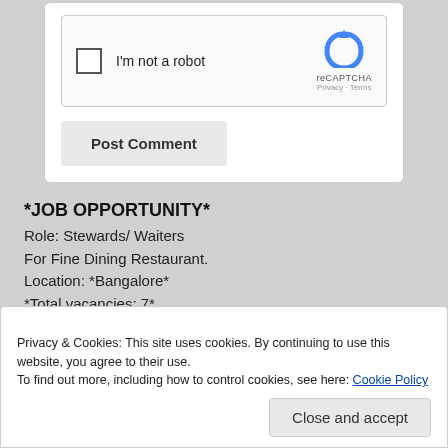[Figure (screenshot): reCAPTCHA widget with checkbox 'I'm not a robot' and reCAPTCHA logo with Privacy and Terms links]
Post Comment
*JOB OPPORTUNITY*
Role: Stewards/ Waiters
For Fine Dining Restaurant.
Location: *Bangalore*
*Total vacancies: 7*
Privacy & Cookies: This site uses cookies. By continuing to use this website, you agree to their use.
To find out more, including how to control cookies, see here: Cookie Policy
Close and accept
Good computer literacy (basic computer skills, word, excel